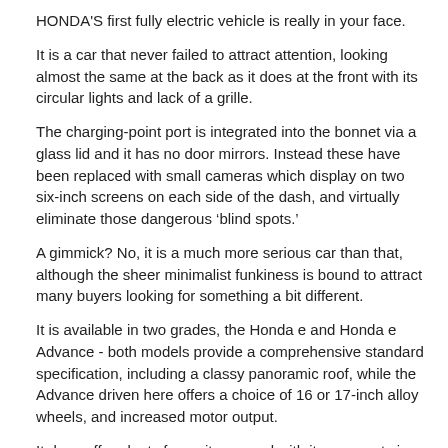HONDA'S first fully electric vehicle is really in your face.
It is a car that never failed to attract attention, looking almost the same at the back as it does at the front with its circular lights and lack of a grille.
The charging-point port is integrated into the bonnet via a glass lid and it has no door mirrors. Instead these have been replaced with small cameras which display on two six-inch screens on each side of the dash, and virtually eliminate those dangerous ‘blind spots.’
A gimmick? No, it is a much more serious car than that, although the sheer minimalist funkiness is bound to attract many buyers looking for something a bit different.
It is available in two grades, the Honda e and Honda e Advance - both models provide a comprehensive standard specification, including a classy panoramic roof, while the Advance driven here offers a choice of 16 or 17-inch alloy wheels, and increased motor output.
It does offer plenty for a city car and with its compact size, and official range of between 125 and 147 miles, although that was a figure that I got nowhere near with a full charge, with the meter showing around 108 miles.